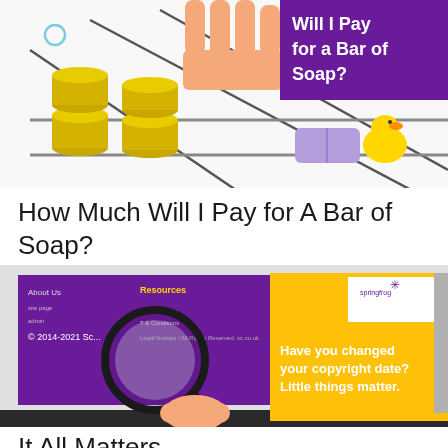[Figure (illustration): Illustrated image showing stacked coins, a hand/fingers, a bar of purple soap, a yellow rubber duck, and a purple banner with white text reading 'Will I Pay for a Bar of Soap?']
How Much Will I Pay for A Bar of Soap?
[Figure (screenshot): Screenshot of a website footer with purple background showing copyright '© 2014-2021 Sc...' overlaid by a magnifying glass held by a cartoon hand. A yellow panel on the right shows a white box with a logo and text 'Have you changed your copyright date? Little things matter.']
It All Matters...